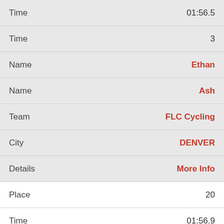| Field | Value |
| --- | --- |
| Time | 01:56.5 |
| Time | 3 |
| Name | Ethan |
| Name | Ash |
| Team | FLC Cycling |
| City | DENVER |
| Details | More Info |
| Place | 20 |
| Time | 01:56.9 |
| Time | 2 |
| Name | Jules |